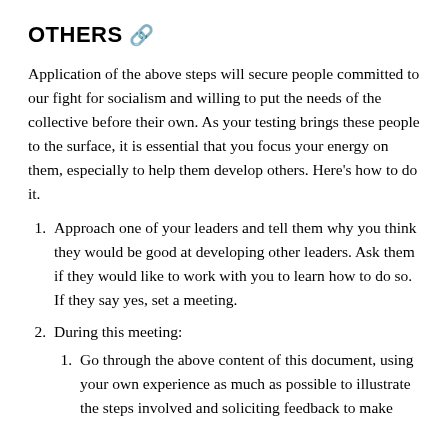OTHERS 🔗
Application of the above steps will secure people committed to our fight for socialism and willing to put the needs of the collective before their own. As your testing brings these people to the surface, it is essential that you focus your energy on them, especially to help them develop others. Here's how to do it.
1. Approach one of your leaders and tell them why you think they would be good at developing other leaders. Ask them if they would like to work with you to learn how to do so. If they say yes, set a meeting.
2. During this meeting:
1. Go through the above content of this document, using your own experience as much as possible to illustrate the steps involved and soliciting feedback to make